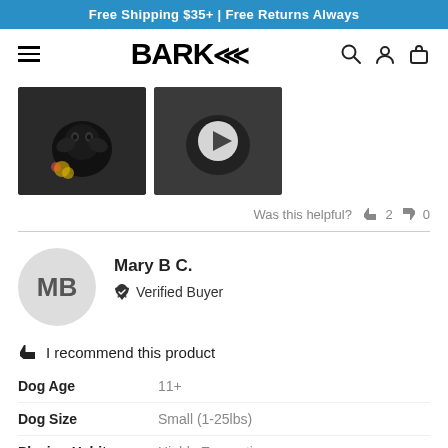Free Shipping $35+ | Free Returns Always
[Figure (logo): BARK brand logo with hamburger menu and icons for search, account, and cart]
[Figure (photo): Two thumbnail images of a dog with a toy, second has a play button overlay]
Was this helpful? 👍 2 👎 0
[Figure (illustration): Reviewer avatar circle with initials MB]
Mary B C.
✔ Verified Buyer
👍 I recommend this product
| Attribute | Value |
| --- | --- |
| Dog Age | 11+ |
| Dog Size | Small (1-25lbs) |
| Playing Habits | Highly Energetic |